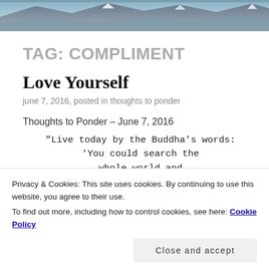[Figure (photo): Mountain/landscape scenery with snow-capped peaks and water, cropped at top of page]
TAG: COMPLIMENT
Love Yourself
june 7, 2016, posted in thoughts to ponder
Thoughts to Ponder – June 7, 2016
"Live today by the Buddha's words: 'You could search the whole world and
Privacy & Cookies: This site uses cookies. By continuing to use this website, you agree to their use.
To find out more, including how to control cookies, see here: Cookie Policy
Close and accept
brag about our accomplishments or show off in any